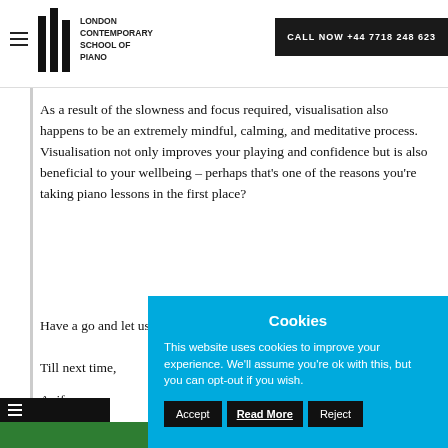London Contemporary School of Piano — CALL NOW +44 7718 248 623
As a result of the slowness and focus required, visualisation also happens to be an extremely mindful, calming, and meditative process. Visualisation not only improves your playing and confidence but is also beneficial to your wellbeing – perhaps that's one of the reasons you're taking piano lessons in the first place?
Have a go and let us know how you get on.
Till next time,
Aoife
Tips & T…
Cookies
This website uses cookies to improve your experience. We'll assume you're ok with this, but you can opt-out if you wish. Accept  Read More  Reject